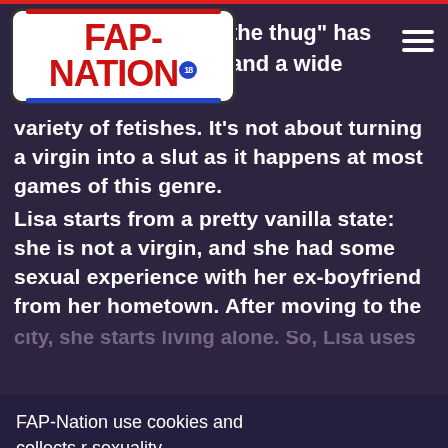[Figure (logo): FAP-NATION logo with red text on white rounded rectangle background, red and blue horizontal stripes, age badge 18]
the thug" has and a wide
variety of fetishes. It's not about turning a virgin into a slut as it happens at most games of this genre. Lisa starts from a pretty vanilla state: she is not a virgin, and she had some sexual experience with her ex-boyfriend from her hometown. After moving to the
city, she starts living alone. So, Lisa uses
FAP-Nation use cookies and collects user data to improve the website and your experience. By entering and using the website you agree with these terms. Learn More
r sexuality lives into her body lewd videos, does research, buys various toys and different